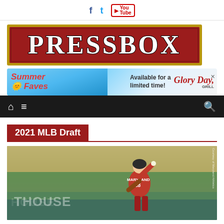Social media icons: Facebook, Twitter, YouTube
[Figure (logo): PRESSBOX logo — white serif text on dark red/crimson background with gold border]
[Figure (infographic): Advertisement banner: Summer Faves Available for a limited time! Glory Day Grill]
[Figure (screenshot): Navigation bar with home icon, hamburger menu, and search icon on black background]
2021 MLB Draft
[Figure (photo): Baseball player in Maryland #18 red uniform pitching on a baseball field]